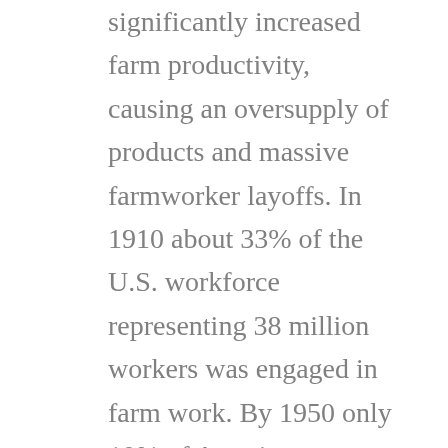significantly increased farm productivity, causing an oversupply of products and massive farmworker layoffs. In 1910 about 33% of the U.S. workforce representing 38 million workers was engaged in farm work. By 1950 only 10% of Americans worked on farms, by 2010 farmers accounted for just 2% of the U.S. workforce. The productivity gains due to mechanization were so significant that heavy government intervention was needed to avoid the collapse of the farming industry. Many of the farmworkers, after being retrained, found work in the rapidly growing car manufacturing industry. In analogy to the disruption to farming in the 20's, new socio-economic models might be required with features such as 'guaranteed income' or 'reeducation bonus' to provide support during the transition